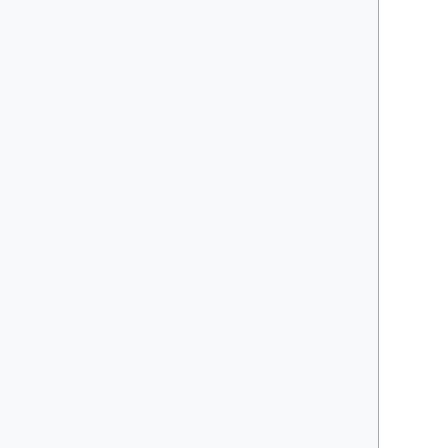available to the public at PAX Prime 2011, but the official release party was September 2, 2011, at a show in Atlanta. Online pre-orders and digital downloads of the album are available from his website as of August 30, 2011, though it temporarily became unavailable at midnight PST on October 5, 2011.
In addition to the album itself, the pre-order page offers several merchandise packages featuring t-shirts, posters, USB keys and other extras. The ordering experience features graphics and copy text to match the album's theme.
A limited vinyl edition of the album was available for subscribers to the Level 4 Artificial Heart merchandise package. The LP was released under the imprint "JoCoserious Records" (a play on the "JoCo" nickname and the words jocose...